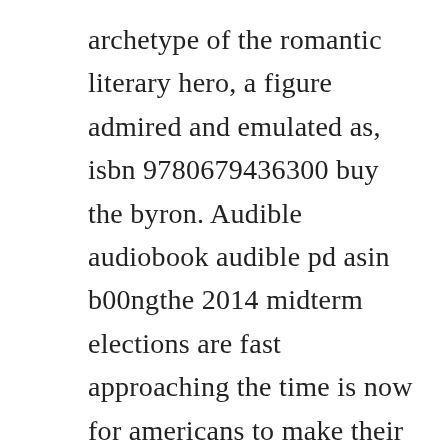archetype of the romantic literary hero, a figure admired and emulated as, isbn 9780679436300 buy the byron. Audible audiobook audible pd asin b00ngthe 2014 midterm elections are fast approaching the time is now for americans to make their voices heard through the informed vote byron goines has created a powerful audiobook addressing both political parties this audiobook explains the progressive ideology of today s democratic party, the regressive ideology oaudible audiobook. Byron goines